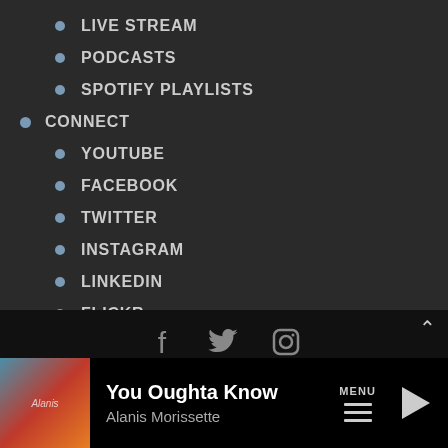LIVE STREAM
PODCASTS
SPOTIFY PLAYLISTS
CONNECT
YOUTUBE
FACEBOOK
TWITTER
INSTAGRAM
LINKEDIN
FLICKR
TRAFFIC
[Figure (other): Social media icons: Facebook, Twitter, Instagram]
COPYRIGHT® 2021, SARKES TARZIAN INC.
You Oughta Know
Alanis Morissette